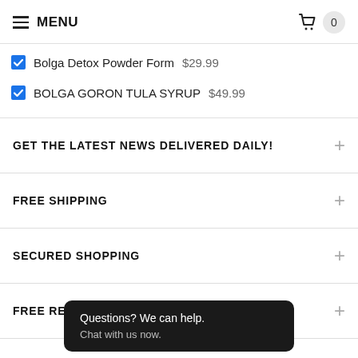MENU | 0
Bolga Detox Powder Form $29.99
BOLGA GORON TULA SYRUP $49.99
GET THE LATEST NEWS DELIVERED DAILY!
FREE SHIPPING
SECURED SHOPPING
FREE RETURNS
Questions? We can help. Chat with us now.